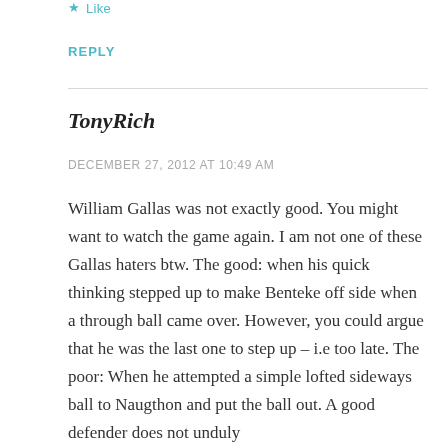★ Like
REPLY
TonyRich
DECEMBER 27, 2012 AT 10:49 AM
William Gallas was not exactly good. You might want to watch the game again. I am not one of these Gallas haters btw. The good: when his quick thinking stepped up to make Benteke off side when a through ball came over. However, you could argue that he was the last one to step up – i.e too late. The poor: When he attempted a simple lofted sideways ball to Naugthon and put the ball out. A good defender does not unduly